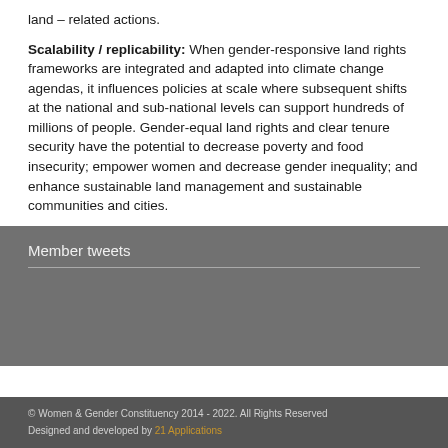land – related actions.
Scalability / replicability: When gender-responsive land rights frameworks are integrated and adapted into climate change agendas, it influences policies at scale where subsequent shifts at the national and sub-national levels can support hundreds of millions of people. Gender-equal land rights and clear tenure security have the potential to decrease poverty and food insecurity; empower women and decrease gender inequality; and enhance sustainable land management and sustainable communities and cities.
Member tweets
© Women & Gender Constituency 2014 - 2022. All Rights Reserved Designed and developed by 21 Applications